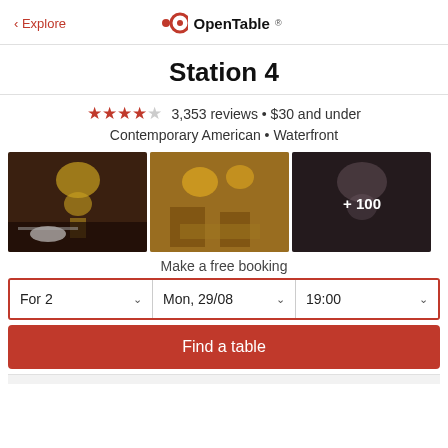< Explore   OpenTable
Station 4
★★★★☆ 3,353 reviews • $30 and under
Contemporary American • Waterfront
[Figure (photo): Three restaurant interior photos showing chandeliers and dining room. Third image has '+100' overlay.]
Make a free booking
For 2   Mon, 29/08   19:00
Find a table